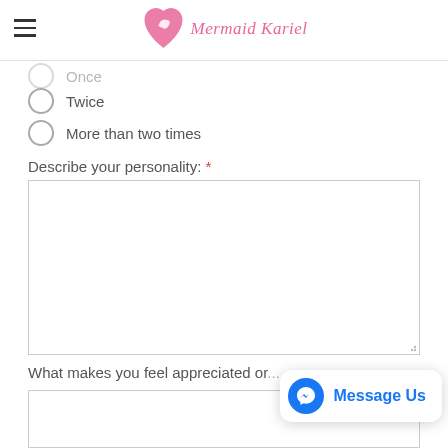Mermaid Kariel
Once (faded/partial)
Twice
More than two times
Describe your personality: *
What makes you feel appreciated or...
[Figure (screenshot): Facebook Messenger 'Message Us' bubble widget in bottom right corner]